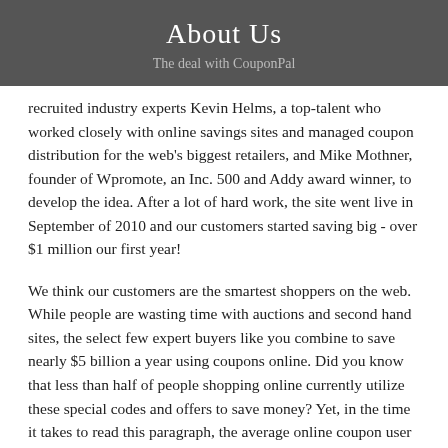About Us
The deal with CouponPal
recruited industry experts Kevin Helms, a top-talent who worked closely with online savings sites and managed coupon distribution for the web's biggest retailers, and Mike Mothner, founder of Wpromote, an Inc. 500 and Addy award winner, to develop the idea. After a lot of hard work, the site went live in September of 2010 and our customers started saving big - over $1 million our first year!
We think our customers are the smartest shoppers on the web. While people are wasting time with auctions and second hand sites, the select few expert buyers like you combine to save nearly $5 billion a year using coupons online. Did you know that less than half of people shopping online currently utilize these special codes and offers to save money? Yet, in the time it takes to read this paragraph, the average online coupon user could save $19!